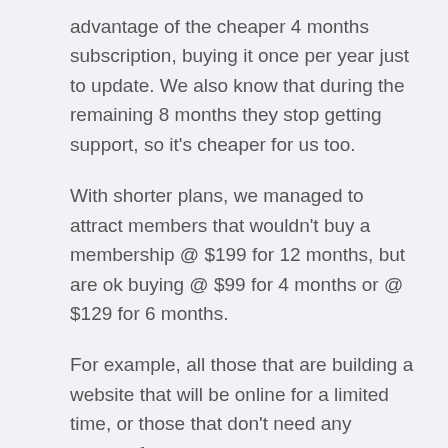advantage of the cheaper 4 months subscription, buying it once per year just to update. We also know that during the remaining 8 months they stop getting support, so it's cheaper for us too.
With shorter plans, we managed to attract members that wouldn't buy a membership @ $199 for 12 months, but are ok buying @ $99 for 4 months or @ $129 for 6 months.
For example, all those that are building a website that will be online for a limited time, or those that don't need any support from us.
Renewals represent 52.7% of our revenues. 30.4% from license renewals and 22.3% from